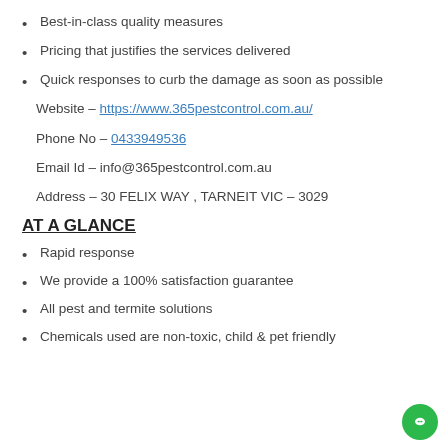Best-in-class quality measures
Pricing that justifies the services delivered
Quick responses to curb the damage as soon as possible
Website – https://www.365pestcontrol.com.au/
Phone No – 0433949536
Email Id – info@365pestcontrol.com.au
Address – 30 FELIX WAY , TARNEIT VIC – 3029
AT A GLANCE
Rapid response
We provide a 100% satisfaction guarantee
All pest and termite solutions
Chemicals used are non-toxic, child & pet friendly